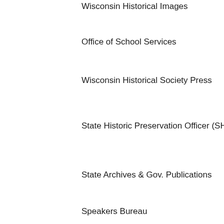Wisconsin Historical Images
Office of School Services
Wisconsin Historical Society Press
State Historic Preservation Officer (SHPO)
State Archives & Gov. Publications
Speakers Bureau
Services For
Educators
Government Agencies
Journalists
Legislators
Local Historians